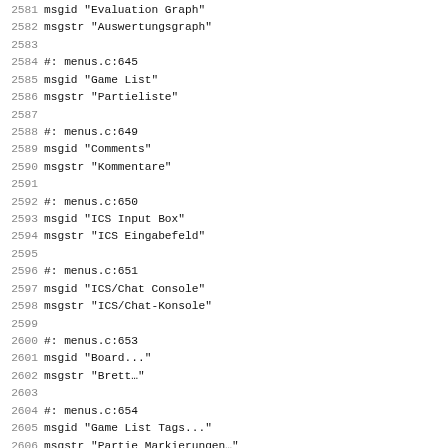2581 msgid "Evaluation Graph"
2582 msgstr "Auswertungsgraph"
2583
2584 #: menus.c:645
2585 msgid "Game List"
2586 msgstr "Partieliste"
2587
2588 #: menus.c:649
2589 msgid "Comments"
2590 msgstr "Kommentare"
2591
2592 #: menus.c:650
2593 msgid "ICS Input Box"
2594 msgstr "ICS Eingabefeld"
2595
2596 #: menus.c:651
2597 msgid "ICS/Chat Console"
2598 msgstr "ICS/Chat-Konsole"
2599
2600 #: menus.c:653
2601 msgid "Board..."
2602 msgstr "Brett…"
2603
2604 #: menus.c:654
2605 msgid "Game List Tags..."
2606 msgstr "Partie Markierungen…"
2607
2608 #: menus.c:659
2609 msgid "Machine White"
2610 msgstr "Schachprogramm weiß"
2611
2612 #: menus.c:660
2613 msgid "Machine Black"